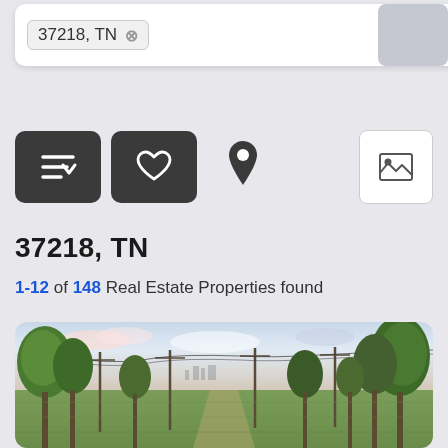[Figure (screenshot): UI card showing zip code tag '37218, TN' with an X button and a gray photo thumbnail on the right]
[Figure (infographic): Toolbar with sort button (down-arrow lines icon), favorites button (heart icon), map pin icon, and gallery/image view button]
37218, TN
1-12 of 148 Real Estate Properties found
[Figure (photo): Outdoor photo of a park or open land area with rows of trees, utility poles with power lines, green grass, and a partly cloudy sky. City skyline faintly visible in the background.]